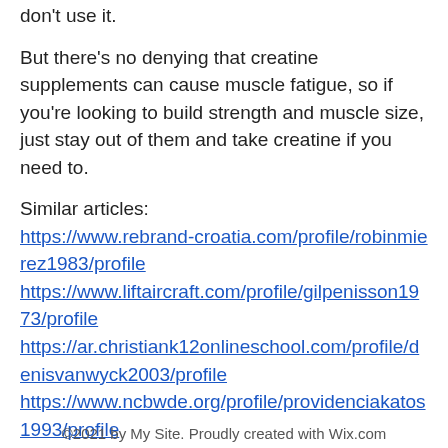don't use it.
But there's no denying that creatine supplements can cause muscle fatigue, so if you're looking to build strength and muscle size, just stay out of them and take creatine if you need to.
Similar articles:
https://www.rebrand-croatia.com/profile/robinmierez1983/profile
https://www.liftaircraft.com/profile/gilpenisson1973/profile
https://ar.christiank12onlineschool.com/profile/denisvanwyck2003/profile
https://www.ncbwde.org/profile/providenciakatos1993/profile
©2021 by My Site. Proudly created with Wix.com